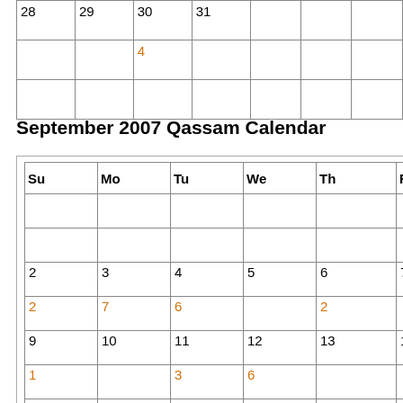| Su | Mo | Tu | We | Th | Fr | Sa |
| --- | --- | --- | --- | --- | --- | --- |
| 28 | 29 | 30 | 31 |  |  |  |
|  |  | 4 |  |  |  |  |
|  |  |  |  |  |  |  |
September 2007 Qassam Calendar
| Su | Mo | Tu | We | Th | Fr | Sa |
| --- | --- | --- | --- | --- | --- | --- |
|  |  |  |  |  |  | 1 |
|  |  |  |  |  |  | 1 |
| 2 | 3 | 4 | 5 | 6 | 7 | 8 |
| 2 | 7 | 6 |  | 2 |  |  |
| 9 | 10 | 11 | 12 | 13 | 14 | 15 |
| 1 |  | 3 | 6 |  |  |  |
| 16 | 17 | 18 | 19 | 20 | 21 | 22 |
| 2 |  |  | 2 | 2 + 1 | 1 |  |
| 23 | 24 | 25 | 26 | 27 | 28 | 29 |
| 2 | 6 | 2 | 4 |  |  |  |